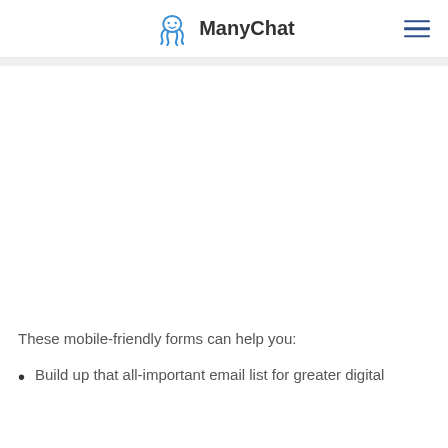ManyChat
These mobile-friendly forms can help you:
Build up that all-important email list for greater digital